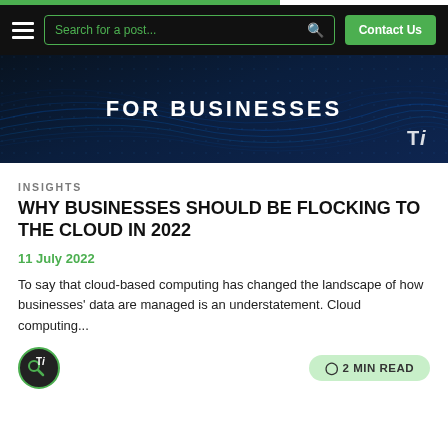Search for a post... | Contact Us
[Figure (illustration): Dark navy hero banner with wave pattern lines and bold white uppercase text reading 'FOR BUSINESSES', with a logo in the bottom right corner]
INSIGHTS
WHY BUSINESSES SHOULD BE FLOCKING TO THE CLOUD IN 2022
11 July 2022
To say that cloud-based computing has changed the landscape of how businesses' data are managed is an understatement. Cloud computing...
2 MIN READ